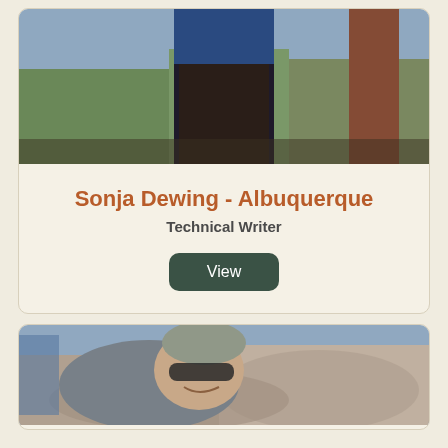[Figure (photo): Photo of Sonja Dewing outdoors, showing lower body in dark pants and blue top, with trees and a wooden post in background]
Sonja Dewing - Albuquerque
Technical Writer
View
[Figure (photo): Photo of a smiling man wearing sunglasses and a grey beanie, lying against a rock face while rock climbing, with another person visible in background]